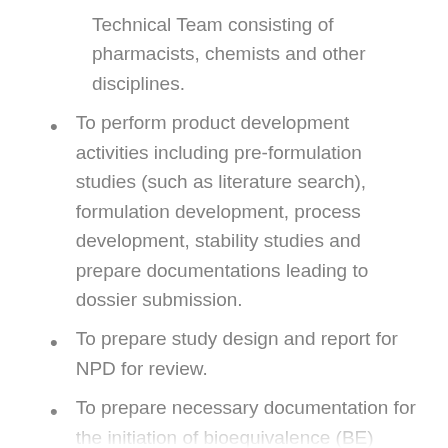Technical Team consisting of pharmacists, chemists and other disciplines.
To perform product development activities including pre-formulation studies (such as literature search), formulation development, process development, stability studies and prepare documentations leading to dossier submission.
To prepare study design and report for NPD for review.
To prepare necessary documentation for the initiation of bioequivalence (BE) study.
To assist...